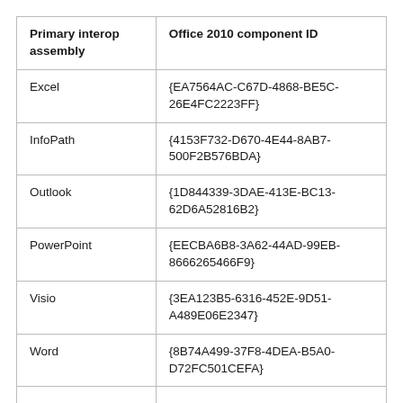| Primary interop assembly | Office 2010 component ID |
| --- | --- |
| Excel | {EA7564AC-C67D-4868-BE5C-26E4FC2223FF} |
| InfoPath | {4153F732-D670-4E44-8AB7-500F2B576BDA} |
| Outlook | {1D844339-3DAE-413E-BC13-62D6A52816B2} |
| PowerPoint | {EECBA6B8-3A62-44AD-99EB-8666265466F9} |
| Visio | {3EA123B5-6316-452E-9D51-A489E06E2347} |
| Word | {8B74A499-37F8-4DEA-B5A0-D72FC501CEFA} |